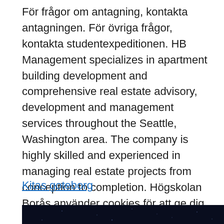För frågor om antagning, kontakta antagningen. För övriga frågor, kontakta studentexpeditionen. HB Management specializes in apartment building development and comprehensive real estate advisory, development and management services throughout the Seattle, Washington area. The company is highly skilled and experienced in managing real estate projects from conception to completion. Högskolan Borås använder cookies för att ge dig som besökare en så bra upplevelse som möjligt av vår webbplats. Genom fortsatt användande av webbplatsen godkänner du att vi använder cookies.
Kitas goteborg
[Figure (photo): Dark/night background image, partially visible at bottom of page]